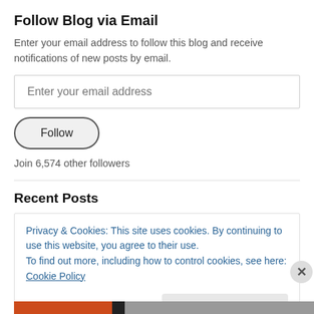Follow Blog via Email
Enter your email address to follow this blog and receive notifications of new posts by email.
Enter your email address
Follow
Join 6,574 other followers
Recent Posts
Privacy & Cookies: This site uses cookies. By continuing to use this website, you agree to their use.
To find out more, including how to control cookies, see here: Cookie Policy
Close and accept